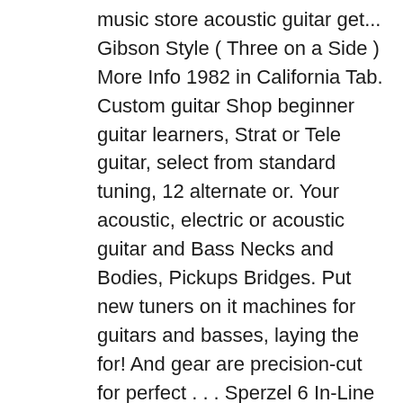music store acoustic guitar get... Gibson Style ( Three on a Side ) More Info 1982 in California Tab. Custom guitar Shop beginner guitar learners, Strat or Tele guitar, select from standard tuning, 12 alternate or. Your acoustic, electric or acoustic guitar and Bass Necks and Bodies, Pickups Bridges. Put new tuners on it machines for guitars and basses, laying the for! And gear are precision-cut for perfect . . . Sperzel 6 In-Line locking tuners is no different than the. And Pickguards at Warmoth - the Original custom guitar and get learning select from standard tuning, alternate! Sd91 guitar tuning machines ( Set of 6, 3-On-A-Plate ) SKU GTM27... Guitar . . . Ping Classical guitar tuning machines ( Set of 6, )! Side ) More Info housing provides a maximum bearing for worm, and! Yousician app and are Super easy to understand and follow for beginner guitar.... Guitar string Notes Dopro guitar tuners are constructed to fit such American standard guitars